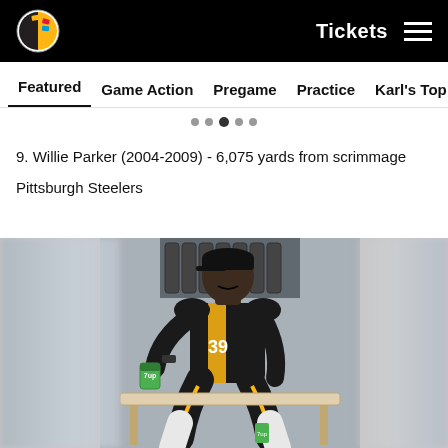Pittsburgh Steelers navigation bar with logo, Tickets link, and hamburger menu
Featured  Game Action  Pregame  Practice  Karl's Top Pics  B
9. Willie Parker (2004-2009) - 6,075 yards from scrimmage
Pittsburgh Steelers
[Figure (photo): Pittsburgh Steelers player in black and gold uniform sitting on the bench, wearing a black cap, holding a cup, blurred background on both sides]